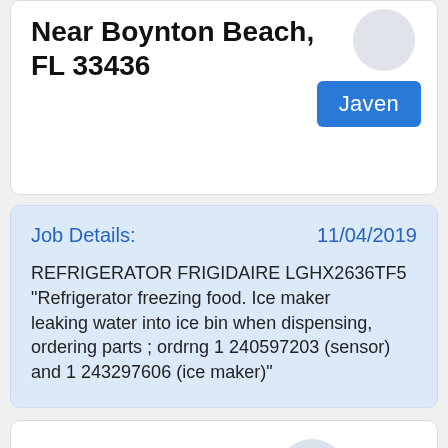Near Boynton Beach, FL 33436
Javen
Job Details:
11/04/2019
REFRIGERATOR FRIGIDAIRE LGHX2636TF5 "Refrigerator freezing food. Ice maker leaking water into ice bin when dispensing, ordering parts ; ordrng 1 240597203 (sensor) and 1 243297606 (ice maker)"
Near Stuart, FL 34997